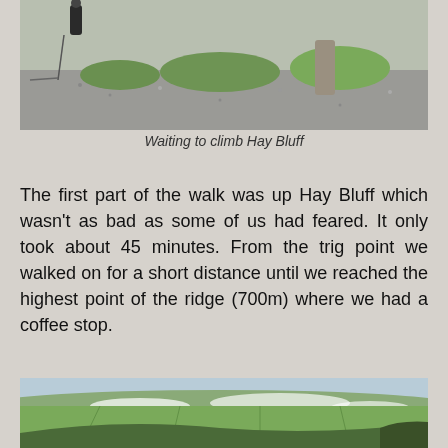[Figure (photo): Outdoor scene showing gravel ground with grass patches and a standing stone, a person with walking poles visible at the top left — waiting to climb Hay Bluff]
Waiting to climb Hay Bluff
The first part of the walk was up Hay Bluff which wasn't as bad as some of us had feared. It only took about 45 minutes. From the trig point we walked on for a short distance until we reached the highest point of the ridge (700m) where we had a coffee stop.
[Figure (photo): Aerial view from a high ridge looking down over a wide green valley with fields, low clouds and mist rolling through, hills visible in the distance — view from Hay Bluff at 700m]